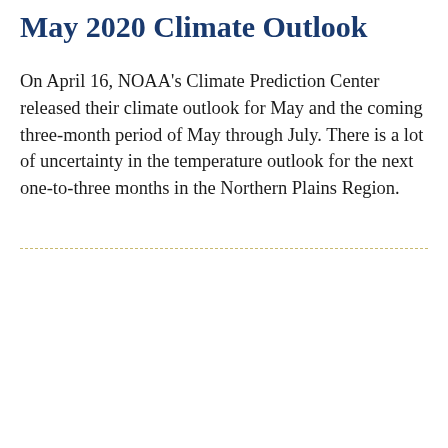May 2020 Climate Outlook
On April 16, NOAA's Climate Prediction Center released their climate outlook for May and the coming three-month period of May through July. There is a lot of uncertainty in the temperature outlook for the next one-to-three months in the Northern Plains Region.